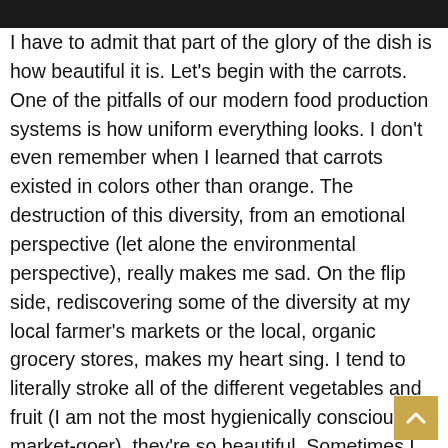I have to admit that part of the glory of the dish is how beautiful it is. Let's begin with the carrots. One of the pitfalls of our modern food production systems is how uniform everything looks. I don't even remember when I learned that carrots existed in colors other than orange. The destruction of this diversity, from an emotional perspective (let alone the environmental perspective), really makes me sad. On the flip side, rediscovering some of the diversity at my local farmer's markets or the local, organic grocery stores, makes my heart sing. I tend to literally stroke all of the different vegetables and fruit (I am not the most hygienically conscious market-goer), they're so beautiful. Sometimes I find myself staring at the seeds inside of a pepper or at the concentric rings on a carrot and marvelling at how beautifully constructed so much of our food is. Wit